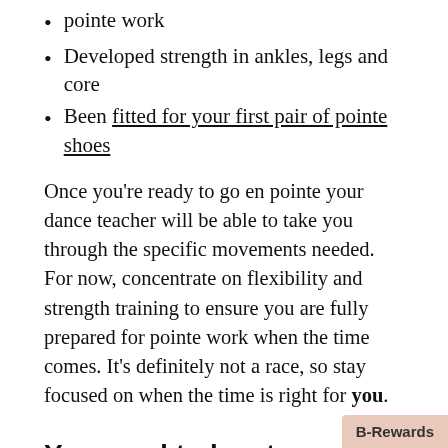pointe work
Developed strength in ankles, legs and core
Been fitted for your first pair of pointe shoes
Once you're ready to go en pointe your dance teacher will be able to take you through the specific movements needed. For now, concentrate on flexibility and strength training to ensure you are fully prepared for pointe work when the time comes. It's definitely not a race, so stay focused on when the time is right for you.
You need to be strong enough for pointe work
If you break down the mechanics of pointe work, the source of power stems from the feet. Foot and ankle strength is a pinnacle pre-requisite for any